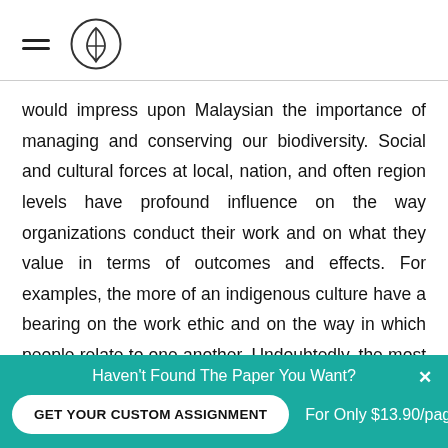[hamburger menu icon] [pencil logo]
would impress upon Malaysian the importance of managing and conserving our biodiversity. Social and cultural forces at local, nation, and often region levels have profound influence on the way organizations conduct their work and on what they value in terms of outcomes and effects. For examples, the more of an indigenous culture have a bearing on the work ethic and on the way in which people relate to one another. Undoubtedly, the most profound cultural dimension is language. Understanding the national/region/local values
Haven't Found The Paper You Want? GET YOUR CUSTOM ASSIGNMENT For Only $13.90/page